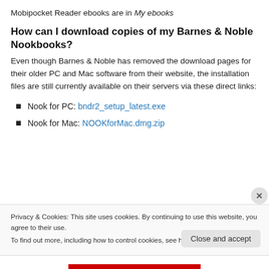Mobipocket Reader ebooks are in My ebooks
How can I download copies of my Barnes & Noble Nookbooks?
Even though Barnes & Noble has removed the download pages for their older PC and Mac software from their website, the installation files are still currently available on their servers via these direct links:
Nook for PC: bndr2_setup_latest.exe
Nook for Mac: NOOKforMac.dmg.zip
Privacy & Cookies: This site uses cookies. By continuing to use this website, you agree to their use. To find out more, including how to control cookies, see here: Cookie Policy